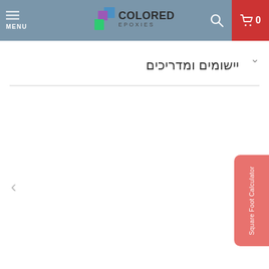MENU | COLORED EPOXIES | 0
יישומים ומדריכים
< (left navigation arrow)
Square Foot Calculator